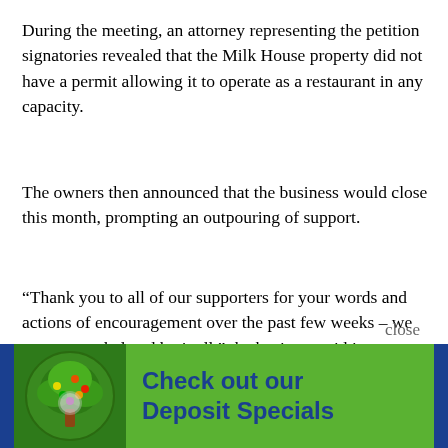During the meeting, an attorney representing the petition signatories revealed that the Milk House property did not have a permit allowing it to operate as a restaurant in any capacity.
The owners then announced that the business would close this month, prompting an outpouring of support.
“Thank you to all of our supporters for your words and actions of encouragement over the past few weeks – we were overwhelmed by it all,” the business said in announcing its closure today. “We explored all of the options and determined that we simply will not be able to sustain this business in our neighborhood right now.”
[Figure (illustration): Advertisement banner with a green tree logo on the left and text 'Check out our Deposit Specials' in blue on a green background]